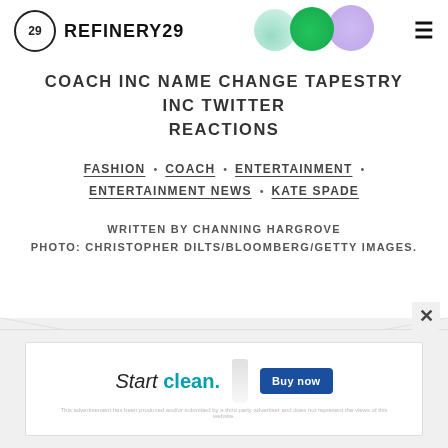REFINERY29
COACH INC NAME CHANGE TAPESTRY INC TWITTER REACTIONS
FASHION • COACH • ENTERTAINMENT •
ENTERTAINMENT NEWS • KATE SPADE
WRITTEN BY CHANNING HARGROVE
PHOTO: CHRISTOPHER DILTS/BLOOMBERG/GETTY IMAGES.